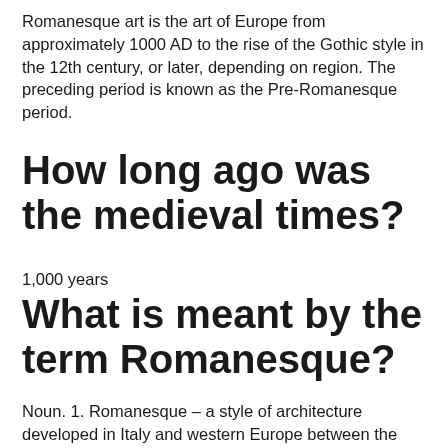Romanesque art is the art of Europe from approximately 1000 AD to the rise of the Gothic style in the 12th century, or later, depending on region. The preceding period is known as the Pre-Romanesque period.
How long ago was the medieval times?
1,000 years
What is meant by the term Romanesque?
Noun. 1. Romanesque – a style of architecture developed in Italy and western Europe between the Roman and the Gothic styles after 1000 AD; characterized by round